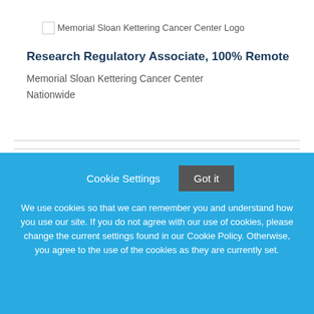[Figure (logo): Memorial Sloan Kettering Cancer Center Logo (broken image placeholder with alt text)]
Research Regulatory Associate, 100% Remote
Memorial Sloan Kettering Cancer Center
Nationwide
Cookie Settings   Got it

We use cookies so that we can remember you and understand how you use our site. If you do not agree with our use of cookies, please change the current settings found in our Cookie Policy. Otherwise, you agree to the use of the cookies as they are currently set.